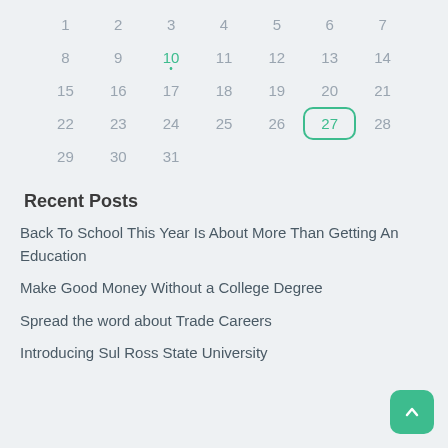[Figure (other): Calendar grid showing days 1-31, with day 10 highlighted in green with a dot, and day 27 highlighted with a green rounded rectangle border]
Recent Posts
Back To School This Year Is About More Than Getting An Education
Make Good Money Without a College Degree
Spread the word about Trade Careers
Introducing Sul Ross State University